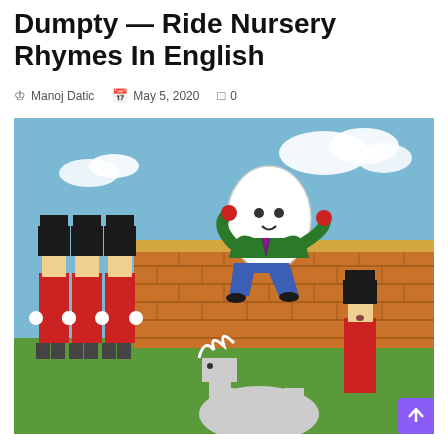Dumpty — Ride Nursery Rhymes In English
Manoj Datic   May 5, 2020   0
[Figure (illustration): Humpty Dumpty illustrated as an egg-shaped character in a green jacket and blue trousers, falling off a brick wall, with British royal guards in red uniforms standing nearby, and a horse with a rider in the foreground.]